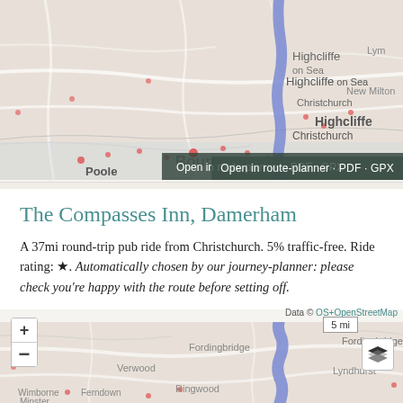[Figure (map): Map showing cycling route near Bournemouth, Christchurch, Highcliffe, Poole area with blue route line and red location dots. Includes 'Open in route-planner · PDF · GPX' bar.]
The Compasses Inn, Damerham
A 37mi round-trip pub ride from Christchurch. 5% traffic-free. Ride rating: ★. Automatically chosen by our journey-planner: please check you're happy with the route before setting off.
[Figure (map): Map showing cycling route through Fordingbridge, Verwood, Ringwood, Wimborne Minster, Ferndown, Lyndhurst area with blue winding route line. Includes zoom controls, scale bar (5 mi), layer toggle button, and Data © OS+OpenStreetMap attribution.]